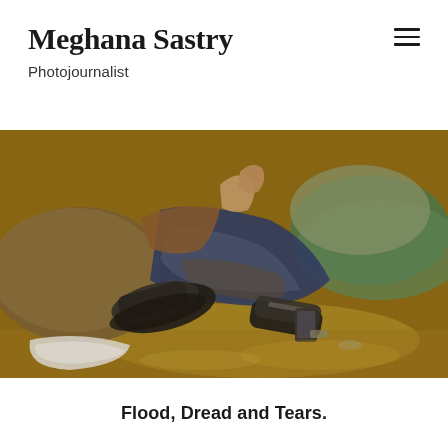Meghana Sastry
Photojournalist
[Figure (photo): A person lying on muddy ground amid flood debris, wearing dirty jeans and dark shoes. Muddy water, sandbags, scattered items including a mobile phone and broken objects visible. Scene depicts flood devastation.]
Flood, Dread and Tears.